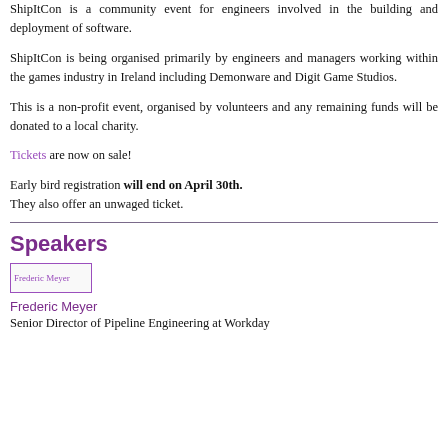ShipItCon is a community event for engineers involved in the building and deployment of software.
ShipItCon is being organised primarily by engineers and managers working within the games industry in Ireland including Demonware and Digit Game Studios.
This is a non-profit event, organised by volunteers and any remaining funds will be donated to a local charity.
Tickets are now on sale!
Early bird registration will end on April 30th. They also offer an unwaged ticket.
Speakers
[Figure (photo): Placeholder image for Frederic Meyer]
Frederic Meyer
Senior Director of Pipeline Engineering at Workday